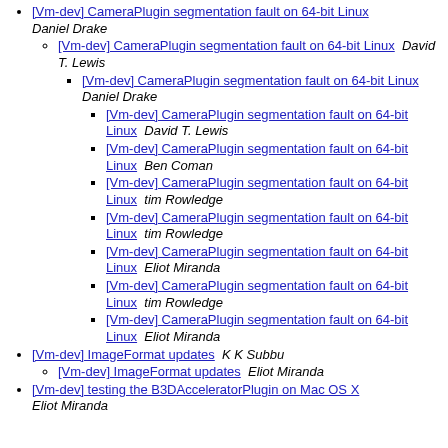[Vm-dev] CameraPlugin segmentation fault on 64-bit Linux  Daniel Drake
[Vm-dev] CameraPlugin segmentation fault on 64-bit Linux  David T. Lewis
[Vm-dev] CameraPlugin segmentation fault on 64-bit Linux  Daniel Drake
[Vm-dev] CameraPlugin segmentation fault on 64-bit Linux  David T. Lewis
[Vm-dev] CameraPlugin segmentation fault on 64-bit Linux  Ben Coman
[Vm-dev] CameraPlugin segmentation fault on 64-bit Linux  tim Rowledge
[Vm-dev] CameraPlugin segmentation fault on 64-bit Linux  tim Rowledge
[Vm-dev] CameraPlugin segmentation fault on 64-bit Linux  Eliot Miranda
[Vm-dev] CameraPlugin segmentation fault on 64-bit Linux  tim Rowledge
[Vm-dev] CameraPlugin segmentation fault on 64-bit Linux  Eliot Miranda
[Vm-dev] ImageFormat updates  K K Subbu
[Vm-dev] ImageFormat updates  Eliot Miranda
[Vm-dev] testing the B3DAcceleratorPlugin on Mac OS X  Eliot Miranda